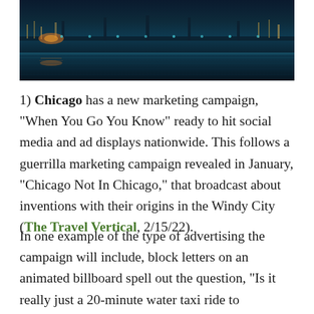[Figure (photo): Nighttime cityscape with lights reflecting on water, teal/blue tones, appears to be a city skyline or bridge over water at night.]
1) Chicago has a new marketing campaign, “When You Go You Know” ready to hit social media and ad displays nationwide. This follows a guerrilla marketing campaign revealed in January, “Chicago Not In Chicago,” that broadcast about inventions with their origins in the Windy City (The Travel Vertical, 2/15/22).
In one example of the type of advertising the campaign will include, block letters on an animated billboard spell out the question, “Is it really just a 20-minute water taxi ride to